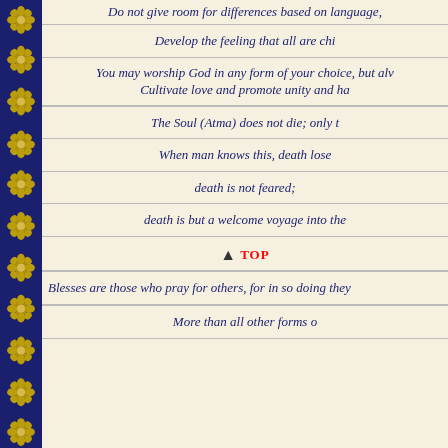[Figure (illustration): Left border with dark navy blue background and repeating gold floral/rosette ornament icons arranged vertically]
Do not give room for differences based on language,
Develop the feeling that all are chi
You may worship God in any form of your choice, but alv Cultivate love and promote unity and ha
The Soul (Atma) does not die; only t
When man knows this, death lose
death is not feared;
death is but a welcome voyage into the
TOP
Blesses are those who pray for others, for in so doing they
More than all other forms o